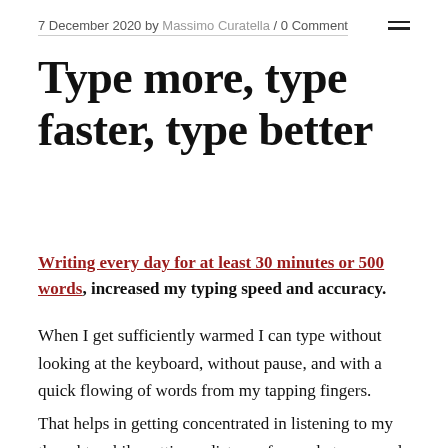7 December 2020 by Massimo Curatella / 0 Comment
Type more, type faster, type better
Writing every day for at least 30 minutes or 500 words, increased my typing speed and accuracy.
When I get sufficiently warmed I can type without looking at the keyboard, without pause, and with a quick flowing of words from my tapping fingers.
That helps in getting concentrated in listening to my thoughts while putting a distance from what surrounds me. Sentences are maybe less elegant but the connection with my brain is deeper and stronger.